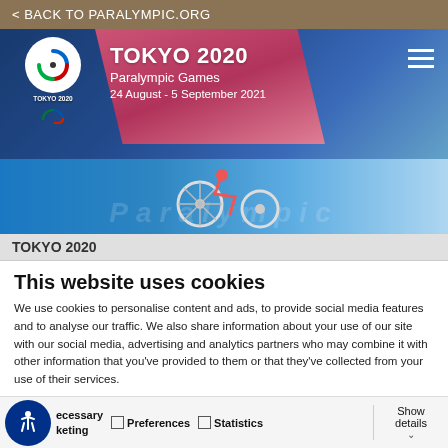< BACK TO PARALYMPIC.ORG
[Figure (screenshot): Tokyo 2020 Paralympic Games header banner with logo, pink overlay block showing 'TOKYO 2020 Paralympic Games 24 August - 5 September 2021', city skyline background, and hamburger menu icon]
[Figure (photo): Wheelchair tennis player on blue court with 'Paralympic' text visible in background]
TOKYO 2020
This website uses cookies
We use cookies to personalise content and ads, to provide social media features and to analyse our traffic. We also share information about your use of our site with our social media, advertising and analytics partners who may combine it with other information that you've provided to them or that they've collected from your use of their services.
Allow all cookies
Allow selection
Use necessary cookies
Necessary | Preferences | Statistics | Show details